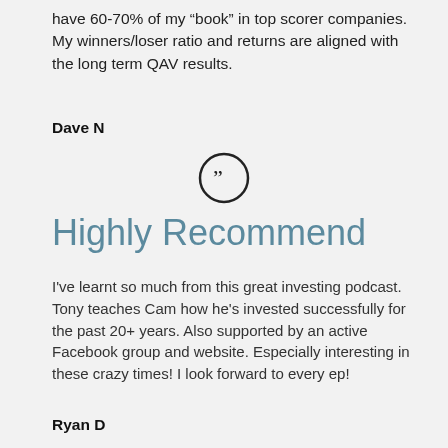have 60-70% of my “book” in top scorer companies. My winners/loser ratio and returns are aligned with the long term QAV results.
Dave N
[Figure (illustration): Closing double quotation mark icon inside a circle]
Highly Recommend
I've learnt so much from this great investing podcast. Tony teaches Cam how he's invested successfully for the past 20+ years. Also supported by an active Facebook group and website. Especially interesting in these crazy times! I look forward to every ep!
Ryan D